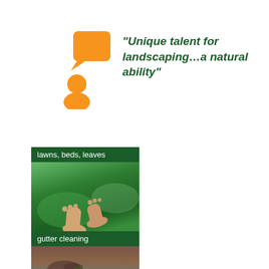[Figure (illustration): Orange person/chat icon with speech bubble above, representing a testimonial quote]
“Unique talent for landscaping…a natural ability”
[Figure (photo): Photo of bare feet walking on lush green grass, with overlaid label 'lawns, beds, leaves' on dark green background]
[Figure (photo): Photo of gutter with debris/leaves, with overlaid label 'gutter cleaning' on dark green background]